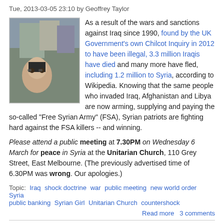Tue, 2013-03-05 23:10 by Geoffrey Taylor
[Figure (photo): Protest scene with people holding signs and images, a woman in sunglasses in the foreground]
As a result of the wars and sanctions against Iraq since 1990, found by the UK Government's own Chilcot Inquiry in 2012 to have been illegal, 3.3 million Iraqis have died and many more have fled, including 1.2 million to Syria, according to Wikipedia. Knowing that the same people who invaded Iraq, Afghanistan and Libya are now arming, supplying and paying the so-called "Free Syrian Army" (FSA), Syrian patriots are fighting hard against the FSA killers -- and winning.
Please attend a public meeting at 7.30PM on Wednesday 6 March for peace in Syria at the Unitarian Church, 110 Grey Street, East Melbourne. (The previously advertised time of 6.30PM was wrong. Our apologies.)
Topic: Iraq   shock doctrine   war   public meeting   new world order   Syria   public banking   Syrian Girl   Unitarian Church   countershock
Read more   3 comments
Australian-sponsored genocide against Iraq 1990...